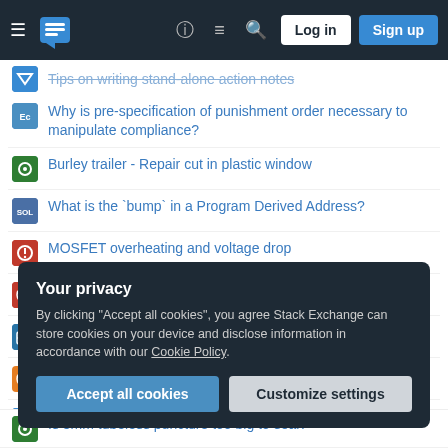Stack Exchange network navigation bar with hamburger menu, logo, help, chat, search, Log in, Sign up buttons
Why is pre-specification of punishment order necessary to manipulate compliance?
Burley trailer - Repair cut in plastic window
What is the `bump` in a Program Derived Address?
MOSFET overheating and voltage drop
What is "Hadozee wavedashing"?
What does the term Other Revenue mean?
All the ways of writing numbers
What is the purpose of not having jury trials for juveniles?
[Figure (screenshot): Your privacy cookie consent dialog with Accept all cookies and Customize settings buttons]
Is 3mm tubeless puncture too big to seal?